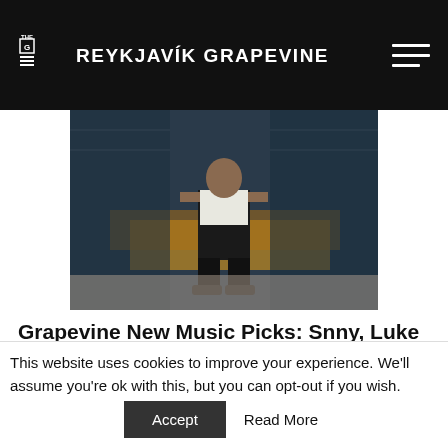THE REYKJAVÍK GRAPEVINE
[Figure (photo): Person standing in front of a large mural/wall with dark blue and golden yellow paint, wearing a white t-shirt and dark pants]
Grapevine New Music Picks: Snny, Luke Duffy, Kjass, and K.óla
by The Reykjavík Grapevine 27 days ago
This website uses cookies to improve your experience. We'll assume you're ok with this, but you can opt-out if you wish.